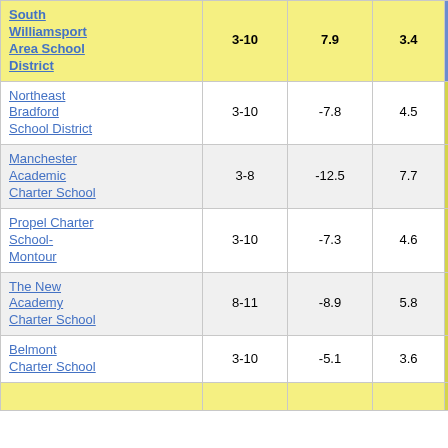| School | Grades | Col3 | Col4 | Score |
| --- | --- | --- | --- | --- |
| South Williamsport Area School District | 3-10 | 7.9 | 3.4 | 2.35 |
| Northeast Bradford School District | 3-10 | -7.8 | 4.5 | -1.73 |
| Manchester Academic Charter School | 3-8 | -12.5 | 7.7 | -1.62 |
| Propel Charter School-Montour | 3-10 | -7.3 | 4.6 | -1.59 |
| The New Academy Charter School | 8-11 | -8.9 | 5.8 | -1.53 |
| Belmont Charter School | 3-10 | -5.1 | 3.6 | -1.41 |